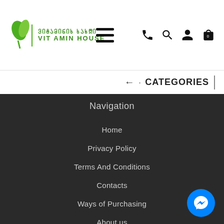[Figure (logo): Vitamin House logo with green leaf icon and Georgian/English text]
CATEGORIES
Navigation
Home
Privacy Policy
Terms And Conditions
Contacts
Ways of Purchasing
About us